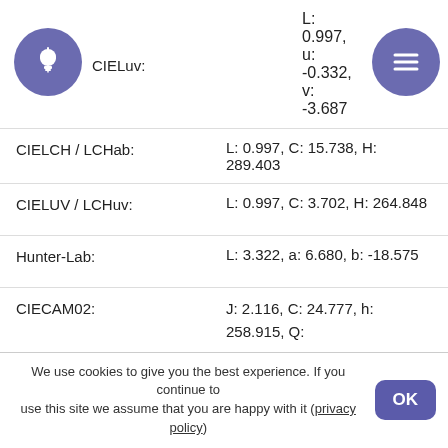CIELuv: L: 0.997, u: -0.332, v: -3.687
CIELCH / LCHab: L: 0.997, C: 15.738, H: 289.403
CIELUV / LCHuv: L: 0.997, C: 3.702, H: 264.848
Hunter-Lab: L: 3.322, a: 6.680, b: -18.575
CIECAM02: J: 2.116, C: 24.777, h: 258.915, Q: 28.662, M: 21.667, s: 86.945, H: 310.523
OSA-UCS: □□□: -10.971, □□: -4.382, □□□: 1.168
LMS: L: 0.028, M: 0.031, S: 1.154
YCbCr: Y: 19.346, Cb: 140.440, Cr: 125.573
YCoCg: Y: 7.750, Cg: -6.750, Co: -7.250
YDbDr: Y: 2.803, Db: 27.774, Dr: 7.400
We use cookies to give you the best experience. If you continue to use this site we assume that you are happy with it (privacy policy)